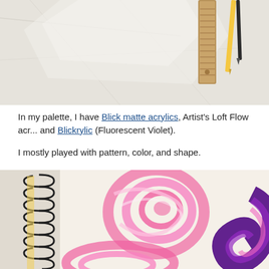[Figure (photo): Top portion of a photo showing art supplies on a white crinkled paper background, including a wooden ruler and pencils.]
In my palette, I have Blick matte acrylics, Artist's Loft Flow acrylics, and Blickrylic (Fluorescent Violet).
I mostly played with pattern, color, and shape.
[Figure (photo): A spiral-bound sketchbook open to a page with swirling pink and violet acrylic paint strokes, showing circular brush marks and swirled color patterns.]